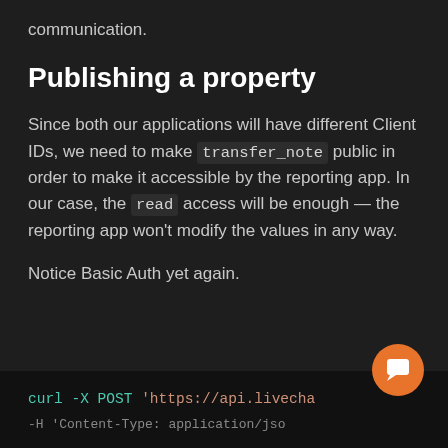communication.
Publishing a property
Since both our applications will have different Client IDs, we need to make transfer_note public in order to make it accessible by the reporting app. In our case, the read access will be enough — the reporting app won't modify the values in any way.
Notice Basic Auth yet again.
[Figure (screenshot): Code block showing curl -X POST 'https://api.livecha...' command with additional line partially visible]